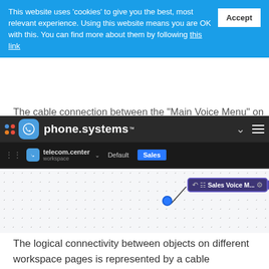This website uses 'cookies' to give you the best, most relevant experience. Using this website means you are OK with this. You can find more about them by following this link
The cable connection between the "Main Voice Menu" on the Default workspace page and the "Sales Voice Menu" on the Sales workspace page is now complete.
[Figure (screenshot): phone.systems website UI showing dark navigation bar with logo, telecom.center account label, Default and Sales workspace tabs, and a dotted workspace canvas with a Sales Voice Menu node connected by a cable line with a blue circular endpoint.]
The logical connectivity between objects on different workspace pages is represented by a cable terminating in a [icon] icon. By clicking on this [icon] icon, the alternate workspace page associated with this connection will be